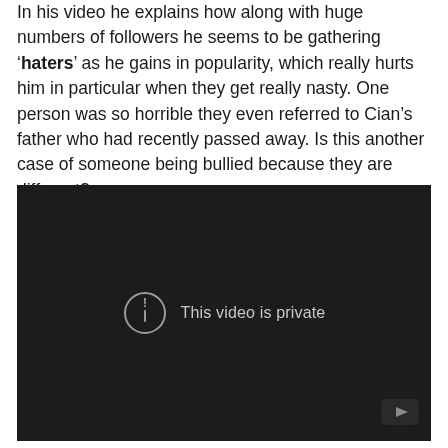In his video he explains how along with huge numbers of followers he seems to be gathering 'haters' as he gains in popularity, which really hurts him in particular when they get really nasty. One person was so horrible they even referred to Cian's father who had recently passed away. Is this another case of someone being bullied because they are different?
[Figure (screenshot): Embedded YouTube video player showing 'This video is private' message with a circle-exclamation icon on a dark background, YouTube logo in bottom-right corner.]